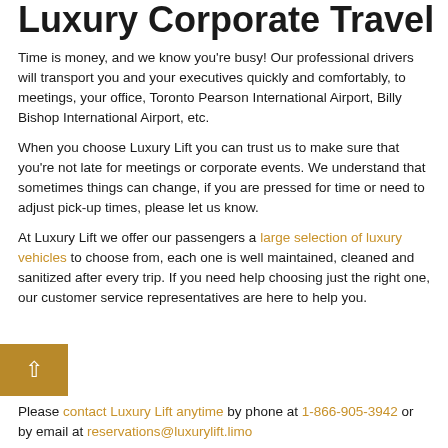Luxury Corporate Travel
Time is money, and we know you're busy! Our professional drivers will transport you and your executives quickly and comfortably, to meetings, your office, Toronto Pearson International Airport, Billy Bishop International Airport, etc.
When you choose Luxury Lift you can trust us to make sure that you're not late for meetings or corporate events. We understand that sometimes things can change, if you are pressed for time or need to adjust pick-up times, please let us know.
At Luxury Lift we offer our passengers a large selection of luxury vehicles to choose from, each one is well maintained, cleaned and sanitized after every trip. If you need help choosing just the right one, our customer service representatives are here to help you.
Please contact Luxury Lift anytime by phone at 1-866-905-3942 or by email at reservations@luxurylift.limo